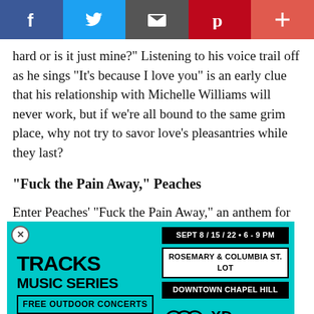Social share bar: Facebook, Twitter, Email, Pinterest, Plus
hard or is it just mine?" Listening to his voice trail off as he sings "It's because I love you" is an early clue that his relationship with Michelle Williams will never work, but if we're all bound to the same grim place, why not try to savor love's pleasantries while they last?
"Fuck the Pain Away," Peaches
Enter Peaches' "Fuck the Pain Away," an anthem for raw desire with emotionless vocals and a swelling bass. Her robotic vocals chant the song title with a mechanical repetition, stray voices moan the background, and the sweaty track gyrates enjoying
[Figure (infographic): Tracks Music Series advertisement overlay on cyan/turquoise background. Text reads: TRACKS MUSIC SERIES, SEPT 8 / 15 / 22 • 6 - 9 PM, ROSEMARY & COLUMBIA ST. LOT, DOWNTOWN CHAPEL HILL, FREE OUTDOOR CONCERTS, Community Arts & Culture logo, XD CH logo]
"Walk